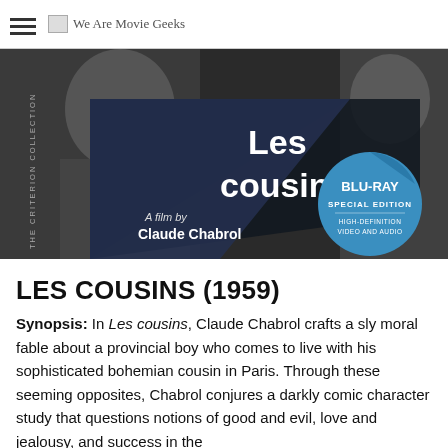We Are Movie Geeks
[Figure (photo): Criterion Collection Blu-ray cover for Les cousins (1959) directed by Claude Chabrol. Black and white image of two figures with geometric dark triangular shapes overlaid. Text reads: Les cousins, A film by Claude Chabrol, BLU-RAY SPECIAL EDITION, HIGH-DEFINITION VIDEO AND AUDIO, THE CRITERION COLLECTION.]
LES COUSINS (1959)
Synopsis: In Les cousins, Claude Chabrol crafts a sly moral fable about a provincial boy who comes to live with his sophisticated bohemian cousin in Paris. Through these seeming opposites, Chabrol conjures a darkly comic character study that questions notions of good and evil, love and jealousy, and success in the